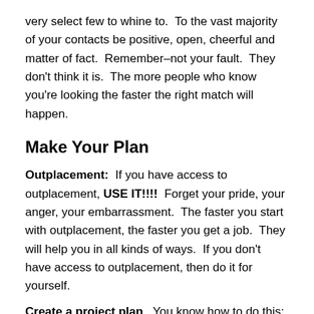very select few to whine to.  To the vast majority of your contacts be positive, open, cheerful and matter of fact.  Remember–not your fault.  They don't think it is.  The more people who know you're looking the faster the right match will happen.
Make Your Plan
Outplacement:  If you have access to outplacement, USE IT!!!!  Forget your pride, your anger, your embarrassment.  The faster you start with outplacement, the faster you get a job.  They will help you in all kinds of ways.  If you don't have access to outplacement, then do it for yourself.
Create a project plan.  You know how to do this:
Set your goals, be specific:  NOT 'Find a job', but rather